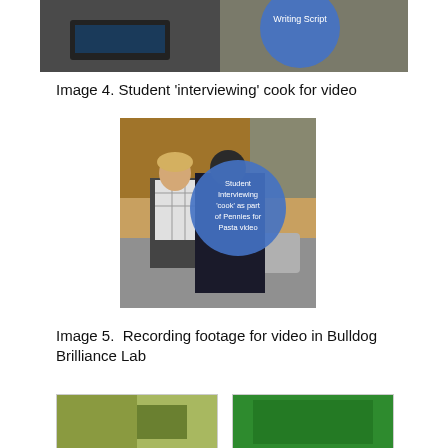[Figure (photo): Photo partially visible at top of page showing a person with a laptop and a blue circle overlay with text 'Writing Script']
Image 4. Student 'interviewing' cook for video
[Figure (photo): Photo of a student interviewing a cook in a kitchen setting, with a blue circle overlay text reading 'Student Interviewing 'cook' as part of Pennies for Pasta video']
Image 5.  Recording footage for video in Bulldog Brilliance Lab
[Figure (photo): Two partial photos at the bottom of the page — left shows a greenish/yellow scene, right shows a green background (green screen)]